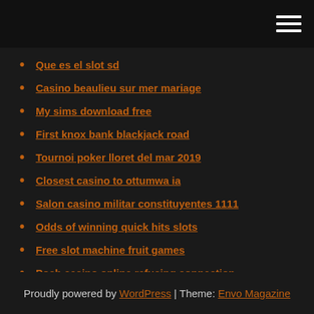Que es el slot sd
Casino beaulieu sur mer mariage
My sims download free
First knox bank blackjack road
Tournoi poker lloret del mar 2019
Closest casino to ottumwa ia
Salon casino militar constituyentes 1111
Odds of winning quick hits slots
Free slot machine fruit games
Posh casino online refusing connection
Break the bank again slot
Proudly powered by WordPress | Theme: Envo Magazine